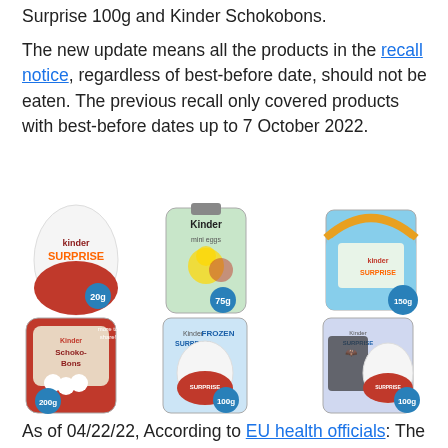Surprise 100g and Kinder Schokobons.
The new update means all the products in the recall notice, regardless of best-before date, should not be eaten. The previous recall only covered products with best-before dates up to 7 October 2022.
[Figure (photo): Six Kinder product images arranged in a 2x3 grid: Kinder Surprise 20g egg, Kinder Mini Eggs 75g bag, Kinder Surprise basket 150g, Kinder Schoko-Bons 200g pouch, Kinder Surprise Frozen 100g, Kinder Surprise Heroes 100g]
As of 04/22/22, According to EU health officials: The